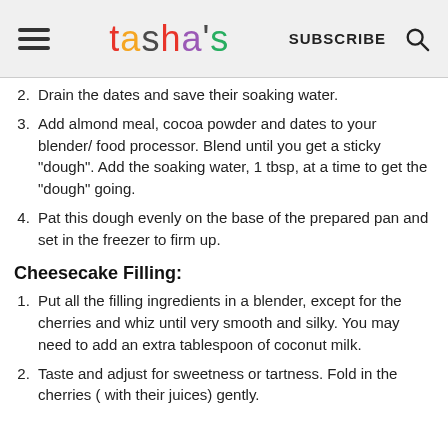tasha's | SUBSCRIBE
2. Drain the dates and save their soaking water.
3. Add almond meal, cocoa powder and dates to your blender/ food processor. Blend until you get a sticky "dough". Add the soaking water, 1 tbsp, at a time to get the "dough" going.
4. Pat this dough evenly on the base of the prepared pan and set in the freezer to firm up.
Cheesecake Filling:
1. Put all the filling ingredients in a blender, except for the cherries and whiz until very smooth and silky. You may need to add an extra tablespoon of coconut milk.
2. Taste and adjust for sweetness or tartness. Fold in the cherries ( with their juices) gently.